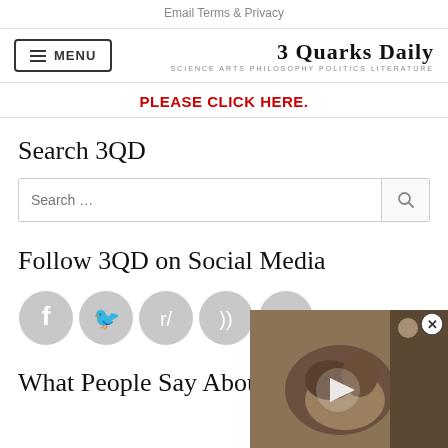Email Terms & Privacy
3 Quarks Daily — SCIENCE ARTS PHILOSOPHY POLITICS LITERATURE
PLEASE CLICK HERE.
Search 3QD
Follow 3QD on Social Media
[Figure (other): Social media icons: Facebook, Twitter, Reddit, RSS, Pocket]
What People Say Abou
[Figure (photo): Video overlay showing an animal (possibly an otter or similar creature) with a play button and close button]